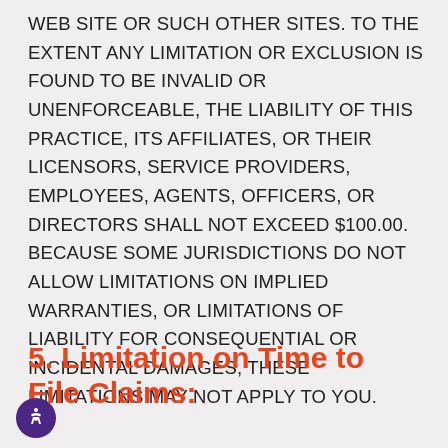WEB SITE OR SUCH OTHER SITES. TO THE EXTENT ANY LIMITATION OR EXCLUSION IS FOUND TO BE INVALID OR UNENFORCEABLE, THE LIABILITY OF THIS PRACTICE, ITS AFFILIATES, OR THEIR LICENSORS, SERVICE PROVIDERS, EMPLOYEES, AGENTS, OFFICERS, OR DIRECTORS SHALL NOT EXCEED $100.00. BECAUSE SOME JURISDICTIONS DO NOT ALLOW LIMITATIONS ON IMPLIED WARRANTIES, OR LIMITATIONS OF LIABILITY FOR CONSEQUENTIAL OR INCIDENTAL DAMAGES, THESE LIMITATIONS MAY NOT APPLY TO YOU.
5. Limitation on Time to File Claims: